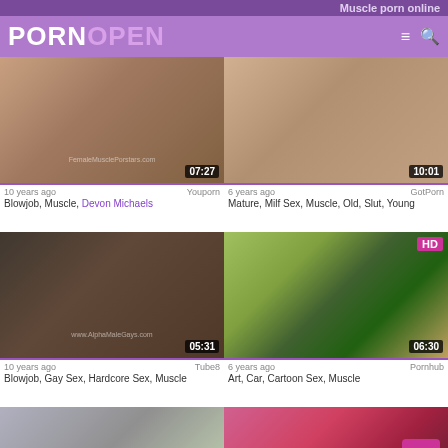Muscle porn online
[Figure (screenshot): PornOpen website logo with purple background, hamburger menu and search icons]
[Figure (photo): Video thumbnail 1, duration 07:27, watermark FemaleMusclePorstars.com]
10 years ago   Youporn
Blowjob, Muscle, Devon Michaels
[Figure (photo): Video thumbnail 2, duration 10:01, watermark momXXX]
6 years ago   GotPorn
Mature, Milf Sex, Muscle, Old, Slut, Young
[Figure (photo): Video thumbnail 3, duration 05:31, watermark www.AlphaMaleGays.com]
10 years ago   Tube8
Blowjob, Gay Sex, Hardcore Sex, Muscle
[Figure (photo): Video thumbnail 4, HD badge, duration 06:30, cartoon/3D character]
6 years ago   Pornhub
Art, Car, Cartoon Sex, Muscle
[Figure (photo): Video thumbnail 5, partial, bottom row left]
[Figure (photo): Video thumbnail 6, partial, bottom row right, HD badge]